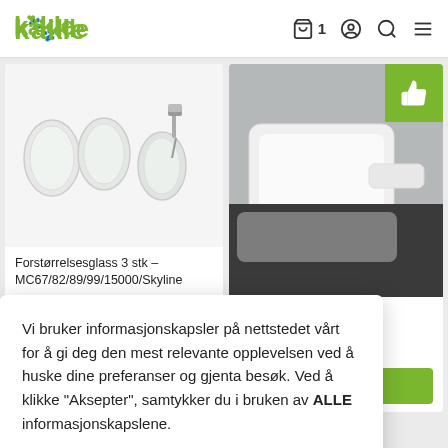Kakle — e-commerce header with logo, cart (1), account, search, and menu icons
[Figure (photo): Product photo: three magnifying lenses, two clear glass and one with a metal stand/clip mechanism, on white background]
Forstørrelsesglass 3 stk – MC67/82/89/99/15000/Skyline
[Figure (photo): Product photo: white rectangular plate/spatula on grey background with green thumbs-up badge overlay in top right corner]
l – 9/S5
nkl. MVA.
Vi bruker informasjonskapsler på nettstedet vårt for å gi deg den mest relevante opplevelsen ved å huske dine preferanser og gjenta besøk. Ved å klikke "Aksepter", samtykker du i bruken av ALLE informasjonskapslene.
INNSTILLINGER
AKSEPTER